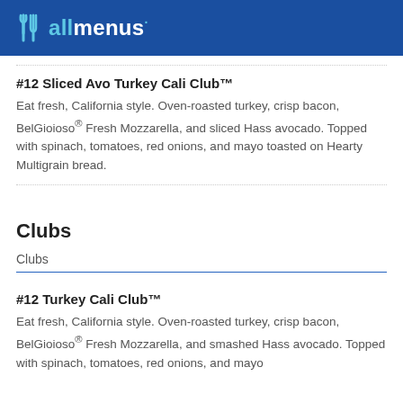allmenus
#12 Sliced Avo Turkey Cali Club™
Eat fresh, California style. Oven-roasted turkey, crisp bacon, BelGioioso® Fresh Mozzarella, and sliced Hass avocado. Topped with spinach, tomatoes, red onions, and mayo toasted on Hearty Multigrain bread.
Clubs
Clubs
#12 Turkey Cali Club™
Eat fresh, California style. Oven-roasted turkey, crisp bacon, BelGioioso® Fresh Mozzarella, and smashed Hass avocado. Topped with spinach, tomatoes, red onions, and mayo